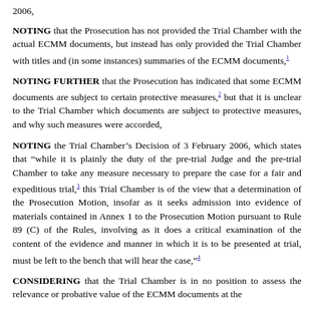2006,
NOTING that the Prosecution has not provided the Trial Chamber with the actual ECMM documents, but instead has only provided the Trial Chamber with titles and (in some instances) summaries of the ECMM documents,1
NOTING FURTHER that the Prosecution has indicated that some ECMM documents are subject to certain protective measures,2 but that it is unclear to the Trial Chamber which documents are subject to protective measures, and why such measures were accorded,
NOTING the Trial Chamber’s Decision of 3 February 2006, which states that "while it is plainly the duty of the pre-trial Judge and the pre-trial Chamber to take any measure necessary to prepare the case for a fair and expeditious trial,3 this Trial Chamber is of the view that a determination of the Prosecution Motion, insofar as it seeks admission into evidence of materials contained in Annex 1 to the Prosecution Motion pursuant to Rule 89 (C) of the Rules, involving as it does a critical examination of the content of the evidence and manner in which it is to be presented at trial, must be left to the bench that will hear the case,"4
CONSIDERING that the Trial Chamber is in no position to assess the relevance or probative value of the ECMM documents at the